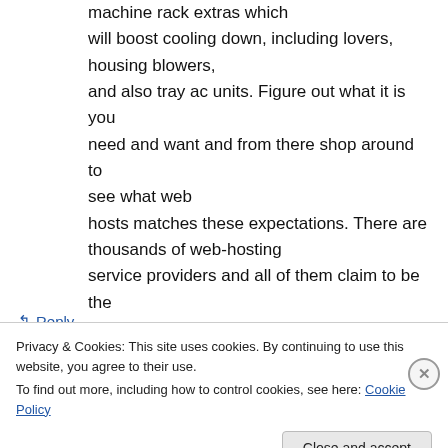machine rack extras which will boost cooling down, including lovers, housing blowers, and also tray ac units. Figure out what it is you need and want and from there shop around to see what web hosts matches these expectations. There are thousands of web-hosting service providers and all of them claim to be the best.
↰ Reply
Privacy & Cookies: This site uses cookies. By continuing to use this website, you agree to their use.
To find out more, including how to control cookies, see here: Cookie Policy